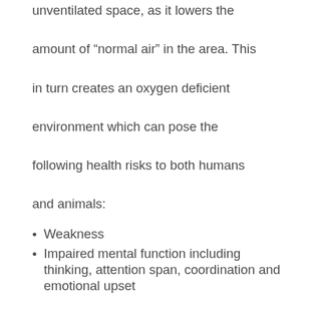unventilated space, as it lowers the amount of “normal air” in the area. This in turn creates an oxygen deficient environment which can pose the following health risks to both humans and animals:
Weakness
Impaired mental function including thinking, attention span, coordination and emotional upset